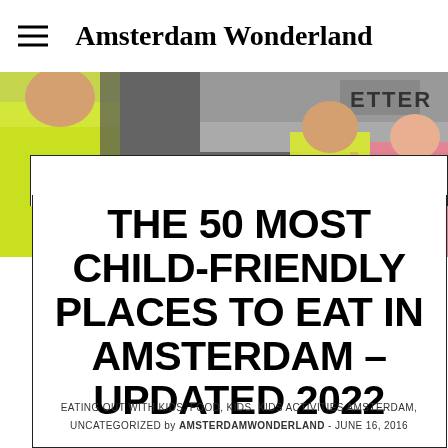Amsterdam Wonderland
[Figure (photo): Children eating ice cream on a street in Amsterdam, wearing colorful clothing including yellow and pink, with a storefront visible in background]
THE 50 MOST CHILD-FRIENDLY PLACES TO EAT IN AMSTERDAM – UPDATED 2022
EATING OUT WITH KIDS, FOOD, KIDS, KIDS ACTIVITIES AMSTERDAM, UNCATEGORIZED by AMSTERDAMWONDERLAND - JUNE 16, 2016